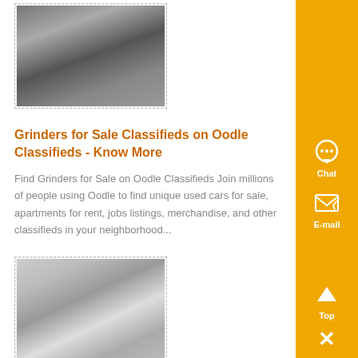[Figure (photo): Industrial machinery or grinder equipment photo, dashed border]
Grinders for Sale Classifieds on Oodle Classifieds - Know More
Find Grinders for Sale on Oodle Classifieds Join millions of people using Oodle to find unique used cars for sale, apartments for rent, jobs listings, merchandise, and other classifieds in your neighborhood...
[Figure (photo): Electrical panel or industrial control box photo, dashed border]
Best Herb Grinders for Sale Smoke - Know